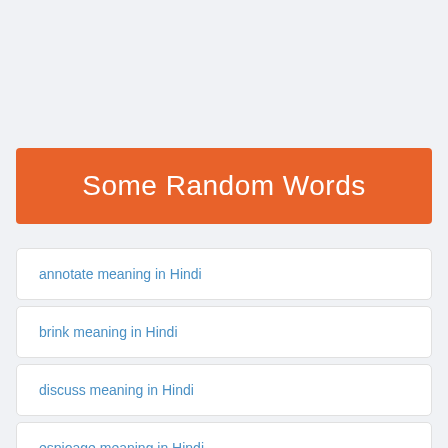Some Random Words
annotate meaning in Hindi
brink meaning in Hindi
discuss meaning in Hindi
espioage meaning in Hindi
ardently meaning in Hindi